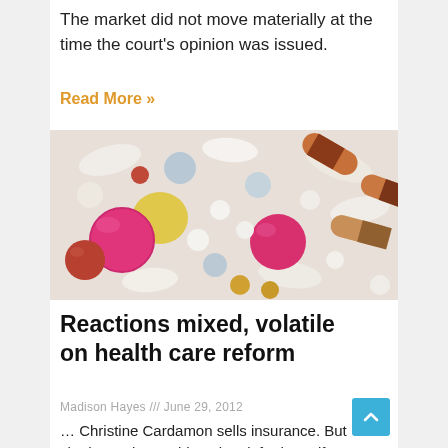The market did not move materially at the time the court's opinion was issued.
Read More »
[Figure (photo): Close-up photo of assorted colorful pills and capsules including pink, white, blue, yellow, red, orange and brown tablets and capsules scattered together.]
Reactions mixed, volatile on health care reform
Madison Hayes /// June 29, 2012
… Christine Cardamon sells insurance. But she hasn't been able to buy it for herself